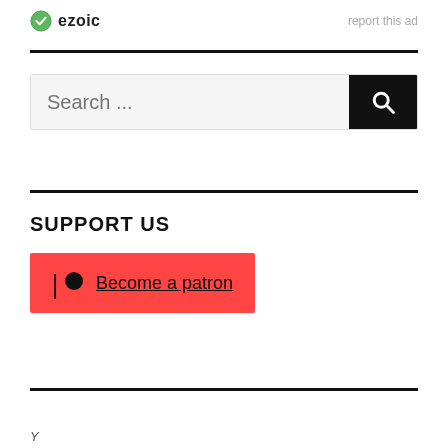[Figure (logo): Ezoic logo with green circle icon and bold text 'ezoic', with 'report this ad' link to the right]
Search ...
SUPPORT US
Become a patron
Y